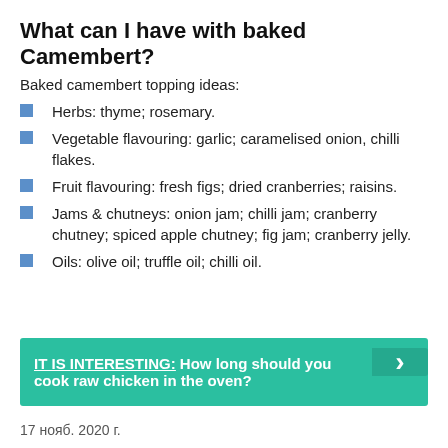What can I have with baked Camembert?
Baked camembert topping ideas:
Herbs: thyme; rosemary.
Vegetable flavouring: garlic; caramelised onion, chilli flakes.
Fruit flavouring: fresh figs; dried cranberries; raisins.
Jams & chutneys: onion jam; chilli jam; cranberry chutney; spiced apple chutney; fig jam; cranberry jelly.
Oils: olive oil; truffle oil; chilli oil.
IT IS INTERESTING: How long should you cook raw chicken in the oven?
17 нояб. 2020 г.